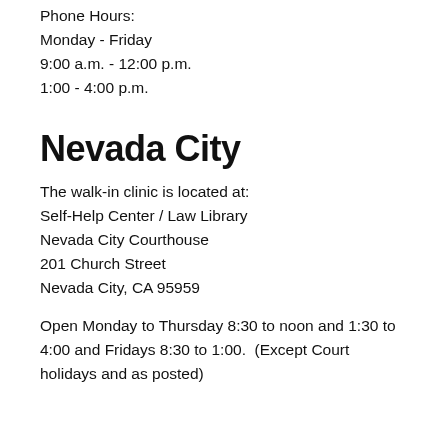Phone Hours:
Monday - Friday
9:00 a.m. - 12:00 p.m.
1:00 - 4:00 p.m.
Nevada City
The walk-in clinic is located at:
Self-Help Center / Law Library
Nevada City Courthouse
201 Church Street
Nevada City, CA 95959
Open Monday to Thursday 8:30 to noon and 1:30 to 4:00 and Fridays 8:30 to 1:00.  (Except Court holidays and as posted)